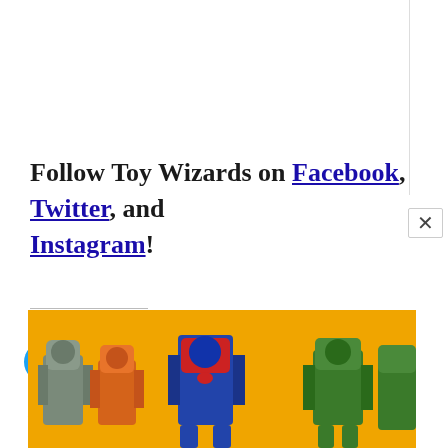Follow Toy Wizards on Facebook, Twitter, and Instagram!
Share this:
[Figure (illustration): Twitter and Facebook share icon buttons (blue circles with white bird and f logos)]
Related
[Figure (photo): Group of Transformers action figures posed against a yellow background, including Optimus Prime and other Autobots]